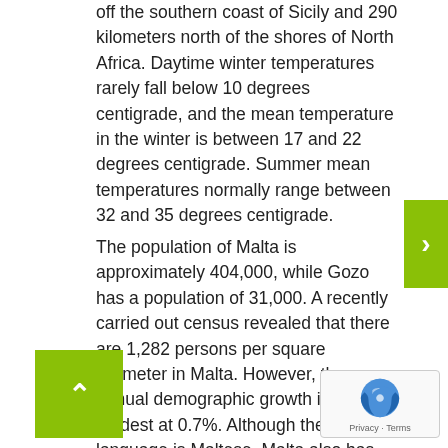off the southern coast of Sicily and 290 kilometers north of the shores of North Africa. Daytime winter temperatures rarely fall below 10 degrees centigrade, and the mean temperature in the winter is between 17 and 22 degrees centigrade. Summer mean temperatures normally range between 32 and 35 degrees centigrade.
The population of Malta is approximately 404,000, while Gozo has a population of 31,000. A recently carried out census revealed that there are 1,282 persons per square kilometer in Malta. However, the annual demographic growth is fairly modest at 0.7%. Although the national language is Maltese, Malta also has English as an official language, and most educated Maltese can speak fluent Maltese, English and Italian. The